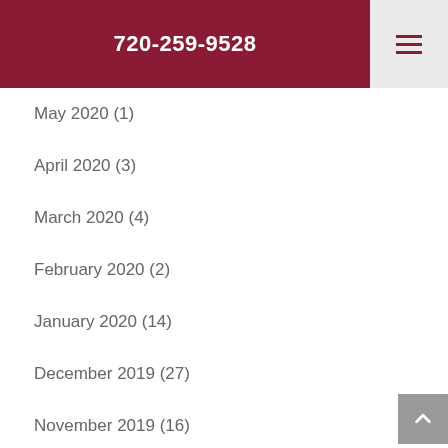720-259-9528
May 2020 (1)
April 2020 (3)
March 2020 (4)
February 2020 (2)
January 2020 (14)
December 2019 (27)
November 2019 (16)
July 2019 (7)
June 2019 (8)